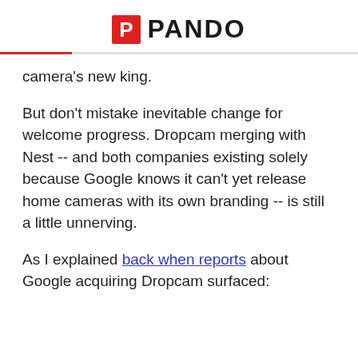PANDO
camera's new king.
But don't mistake inevitable change for welcome progress. Dropcam merging with Nest -- and both companies existing solely because Google knows it can't yet release home cameras with its own branding -- is still a little unnerving.
As I explained back when reports about Google acquiring Dropcam surfaced: